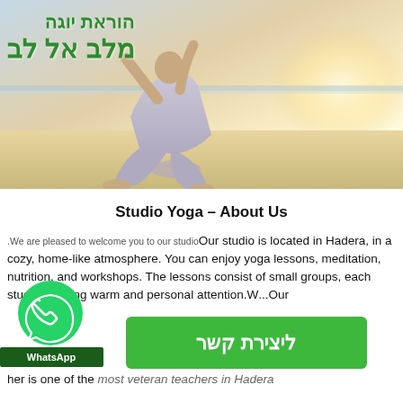[Figure (photo): Hero image of a person doing yoga on a beach with sandy shore and bright sunlight in the background]
הוראת יוגה
מלב אל לב
Studio Yoga – About Us
We are pleased to welcome you to our studio. Our studio is located in Hadera, in a cozy, home-like atmosphere. You can enjoy yoga lessons, meditation, nutrition, and workshops. The lessons consist of small groups, each student getting warm and personal attention. W... Our ... her is one of the most veteran teachers in Hadera
[Figure (logo): WhatsApp logo green circle with phone icon and WhatsApp label below]
ליצירת קשר